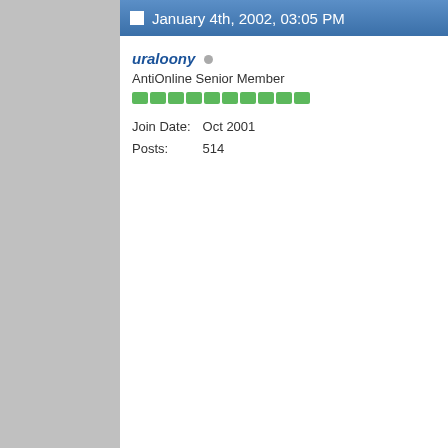January 4th, 2002, 03:05 PM
uraloony
AntiOnline Senior Member
Join Date: Oct 2001
Posts: 514
Re: HI can any one help me this question
Originally posted by MR*
hi every one

i want to ask for somet

1 - How can i get the ip for any icq user who i d him in icq 99 or 2000 o and specially in icq 20 wanna to know how ca calculat an ip address icq number of an icq u

2 - How can i write my Trojan Horse .

3 - What is the best hac programs or the best p to help a newbies to us hacking & what is the b nuker programs .

4 - What is the way to b